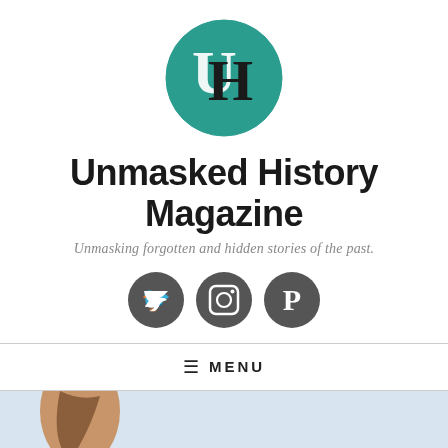[Figure (logo): Circular teal logo with white U and black H letters overlapping, representing Unmasked History Magazine]
Unmasked History Magazine
Unmasking forgotten and hidden stories of the past.
[Figure (infographic): Three dark grey circular social media icons: Twitter bird, Instagram camera, Pinterest P]
≡ MENU
[Figure (photo): Photo of a person wearing a blue sequined top with red cursive text reading 'made in America']